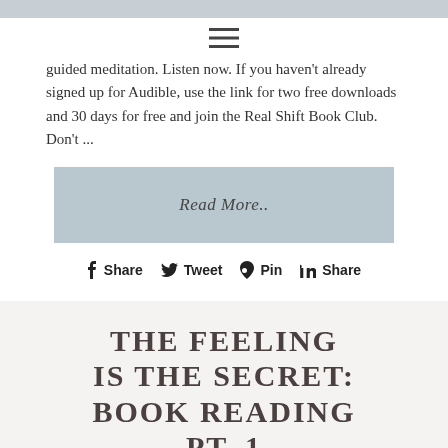[Figure (other): Hamburger menu icon (three horizontal lines)]
guided meditation. Listen now. If you haven't already signed up for Audible, use the link for two free downloads and 30 days for free and join the Real Shift Book Club. Don't ...
Read More..
Share  Tweet  Pin  Share
THE FEELING IS THE SECRET: BOOK READING PT. 1
PODCAST EPISODE 31